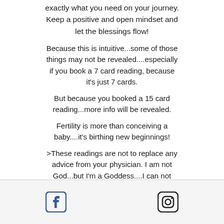exactly what you need on your journey. Keep a positive and open mindset and let the blessings flow!
Because this is intuitive...some of those things may not be revealed....especially if you book a 7 card reading, because it's just 7 cards.
But because you booked a 15 card reading...more info will be revealed.
Fertility is more than conceiving a baby....it's birthing new beginnings!
>These readings are not to replace any advice from your physician. I am not God...but I'm a Goddess....I can not predict your future, but I can assist you on your journey 🙏🏽
[Figure (logo): Facebook and Instagram social media icons in a footer bar]